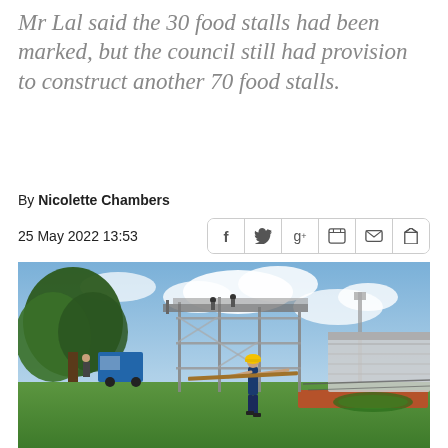Mr Lal said the 30 food stalls had been marked, but the council still had provision to construct another 70 food stalls.
By Nicolette Chambers
25 May 2022 13:53
[Figure (photo): Construction workers at a stadium or sports ground. A worker in a yellow hard hat and blue overalls carries a long wooden plank across a grassy field. Scaffolding and a large metal grandstand structure are being built in the background. Trees and a blue sky with clouds are visible.]